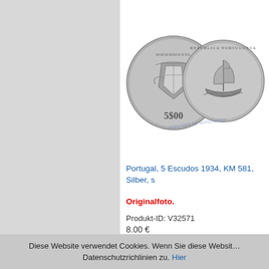[Figure (photo): Two silver coins: left coin shows Portuguese coat of arms with '5$00', right coin shows a sailing ship with text 'REPUBLICA PORTUGUESA'. Watermark 'copyright by wimstamps' visible.]
Portugal, 5 Escudos 1934, KM 581, Silber, s
Originalfoto.
Produkt-ID: V32571
8.00 €
Diese Website verwendet Cookies. Wenn Sie diese Website nutzen, stimmen Sie unseren Datenschutzrichlinien zu. Hier